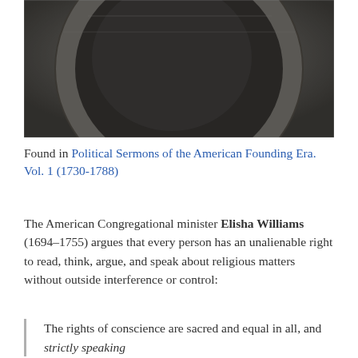[Figure (photo): Black and white photograph showing a close-up of a circular stone or wooden architectural detail, possibly a barrel or circular frame, with dark shadowing.]
Found in Political Sermons of the American Founding Era. Vol. 1 (1730-1788)
The American Congregational minister Elisha Williams (1694–1755) argues that every person has an unalienable right to read, think, argue, and speak about religious matters without outside interference or control:
The rights of conscience are sacred and equal in all, and strictly speaking